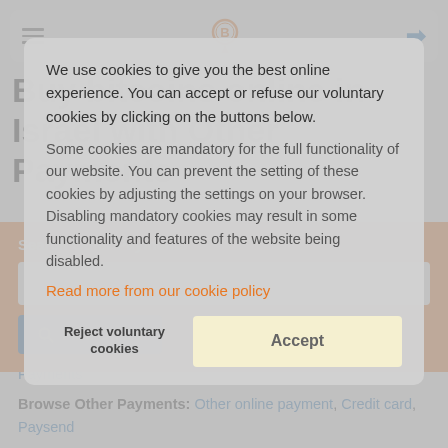Buy bitcoins online in Israel with Other Payments
Search Other Payments
Issuer or Service
Find Offers
We use cookies to give you the best online experience. You can accept or refuse our voluntary cookies by clicking on the buttons below.
Some cookies are mandatory for the full functionality of our website. You can prevent the setting of these cookies by adjusting the settings on your browser. Disabling mandatory cookies may result in some functionality and features of the website being disabled.
Read more from our cookie policy
Reject voluntary cookies
Accept
Browse Offers: Bank Transfers, Online Wallets, Other Payments
Browse Other Payments: Other online payment, Credit card, Paysend